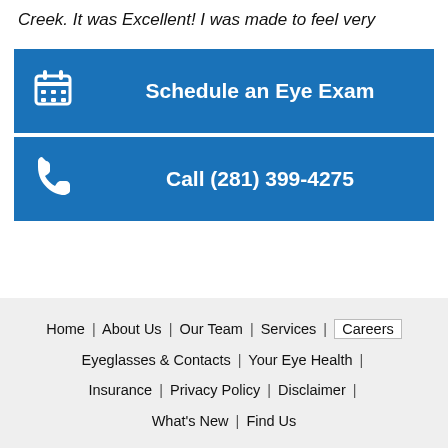Creek. It was Excellent! I was made to feel very
Schedule an Eye Exam
Call (281) 399-4275
Home | About Us | Our Team | Services | Careers | Eyeglasses & Contacts | Your Eye Health | Insurance | Privacy Policy | Disclaimer | What's New | Find Us